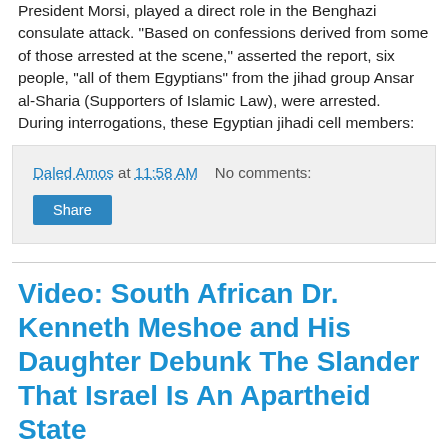President Morsi, played a direct role in the Benghazi consulate attack. "Based on confessions derived from some of those arrested at the scene," asserted the report, six people, "all of them Egyptians" from the jihad group Ansar al-Sharia (Supporters of Islamic Law), were arrested. During interrogations, these Egyptian jihadi cell members:
Daled Amos at 11:58 AM   No comments:
Share
Video: South African Dr. Kenneth Meshoe and His Daughter Debunk The Slander That Israel Is An Apartheid State
There are politicians who find lying to be a normal way of doing politics. Many of them know that they are lying. And they just continue lying in order to please people who hate Israel and in order to please people who they believe have money and oil; in order to do so they make